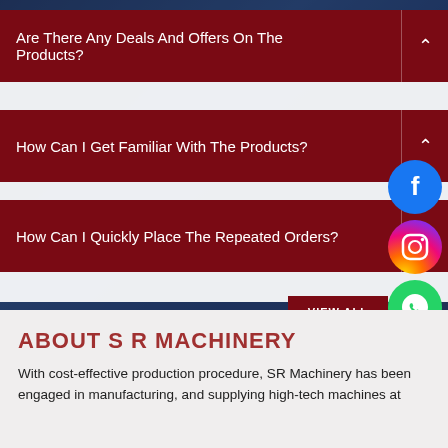Are There Any Deals And Offers On The Products?
How Can I Get Familiar With The Products?
How Can I Quickly Place The Repeated Orders?
ABOUT S R MACHINERY
With cost-effective production procedure, SR Machinery has been engaged in manufacturing, and supplying high-tech machines at